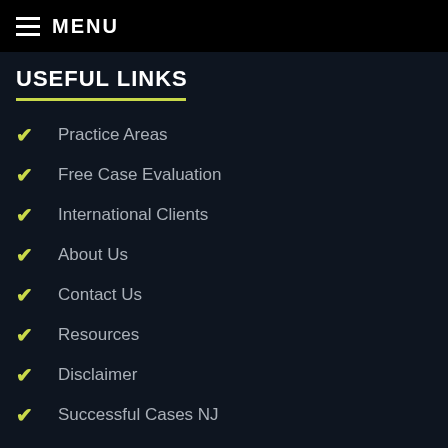MENU
USEFUL LINKS
Practice Areas
Free Case Evaluation
International Clients
About Us
Contact Us
Resources
Disclaimer
Successful Cases NJ
Press and Media